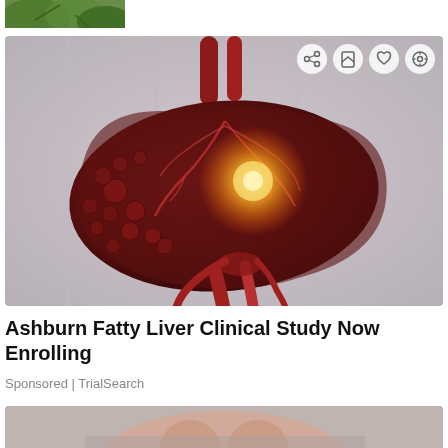[Figure (photo): Partial view of green plant leaves at top of page]
[Figure (illustration): 3D medical illustration of a human liver with glowing highlight at center, showing blood vessels, bile ducts, and nodules on the liver surface, set against a blurred hospital/room background. Four social action icons (share, bookmark, like, bag) appear in the top-right corner of the image.]
Ashburn Fatty Liver Clinical Study Now Enrolling
Sponsored | TrialSearch
[Figure (photo): Partial view of a person sitting with head bowed and hands clasped, visible from mid-torso down, blurred background suggesting distress or contemplation]